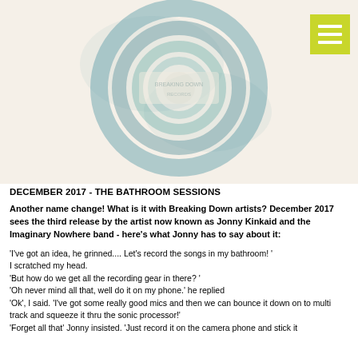[Figure (illustration): Blurred circular logo/album artwork with teal/blue spiral design on a light beige background]
DECEMBER 2017 - THE BATHROOM SESSIONS
Another name change! What is it with Breaking Down artists? December 2017 sees the third release by the artist now known as Jonny Kinkaid and the Imaginary Nowhere band - here's what Jonny has to say about it:
'I've got an idea, he grinned.... Let's record the songs in my bathroom! '
I scratched my head.
'But how do we get all the recording gear in there? '
'Oh never mind all that, well do it on my phone.' he replied
'Ok', I said. 'I've got some really good mics and then we can bounce it down on to multi track and squeeze it thru the sonic processor!'
'Forget all that' Jonny insisted. 'Just record it on the camera phone and stick it